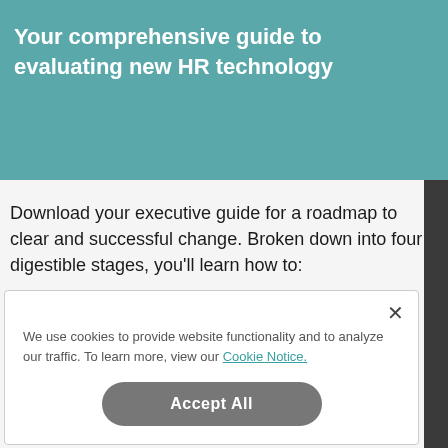Your comprehensive guide to evaluating new HR technology
Download your executive guide for a roadmap to clear and successful change. Broken down into four digestible stages, you'll learn how to:
We use cookies to provide website functionality and to analyze our traffic. To learn more, view our Cookie Notice.
Accept All